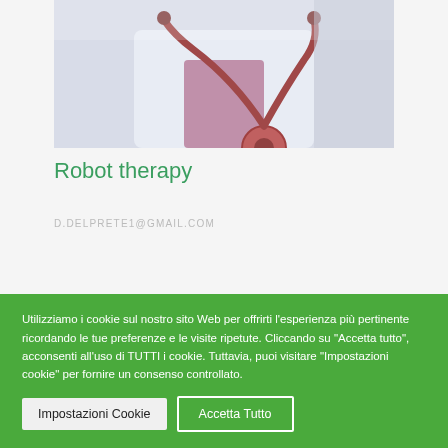[Figure (photo): Photo of a doctor or medical professional wearing a white coat and stethoscope, holding a book or notebook, cropped to show torso area]
Robot therapy
D.DELPRETE1@GMAIL.COM
Utilizziamo i cookie sul nostro sito Web per offrirti l'esperienza più pertinente ricordando le tue preferenze e le visite ripetute. Cliccando su "Accetta tutto", acconsenti all'uso di TUTTI i cookie. Tuttavia, puoi visitare "Impostazioni cookie" per fornire un consenso controllato.
Impostazioni Cookie
Accetta Tutto